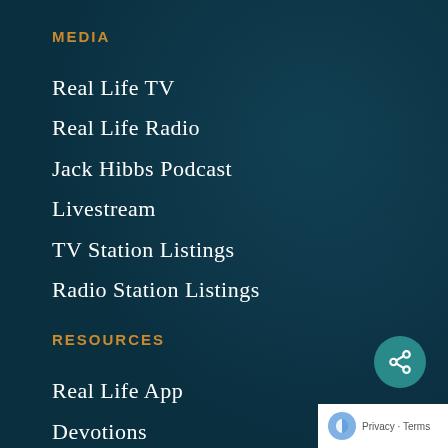MEDIA
Real Life TV
Real Life Radio
Jack Hibbs Podcast
Livestream
TV Station Listings
Radio Station Listings
RESOURCES
Real Life App
Devotions
Offer of the Month